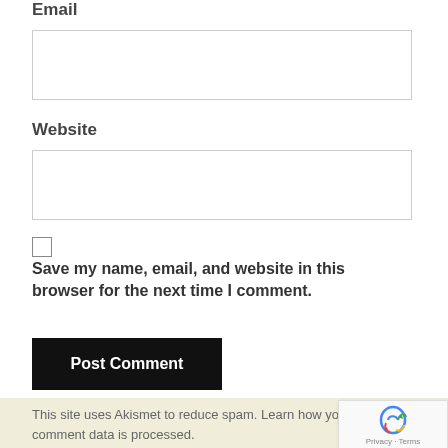Email
(Email input field)
Website
(Website input field)
Save my name, email, and website in this browser for the next time I comment.
Post Comment
This site uses Akismet to reduce spam. Learn how your comment data is processed.